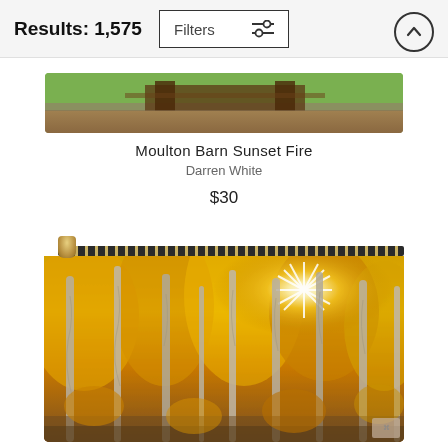Results: 1,575
Filters
[Figure (photo): Partial view of a barn in a green field — Moulton Barn Sunset Fire product image]
Moulton Barn Sunset Fire
Darren White
$30
[Figure (photo): Zipper pouch product showing golden aspen forest with sunburst shining through yellow-leafed trees]